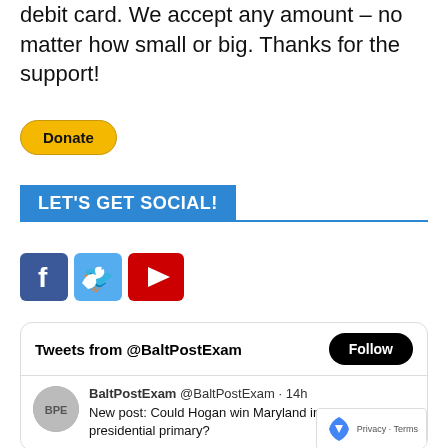debit card. We accept any amount – no matter how small or big. Thanks for the support!
[Figure (other): PayPal Donate button — yellow pill-shaped button with bold black text 'Donate']
LET'S GET SOCIAL!
[Figure (other): Three social media icons: Facebook (blue with white f), Twitter (light blue bird), YouTube (red play button)]
Tweets from @BaltPostExam
BaltPostExam @BaltPostExam · 14h
New post: Could Hogan win Maryland in a GOP presidential primary?